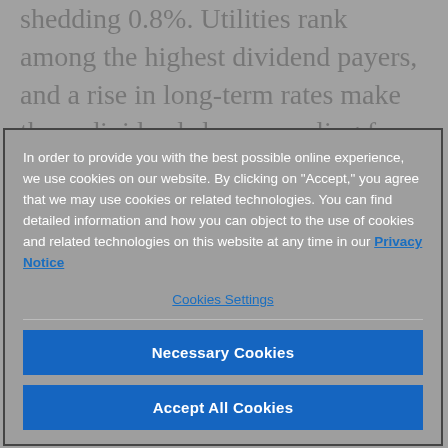shedding 0.8%. Utilities rank among the highest dividend payers, and a rise in long-term rates make those dividends less appealing for income investors.
In order to provide you with the best possible online experience, we use cookies on our website. By clicking on "Accept," you agree that we may use cookies or related technologies. You can find detailed information and how you can object to the use of cookies and related technologies on this website at any time in our Privacy Notice
Cookies Settings
Necessary Cookies
Accept All Cookies